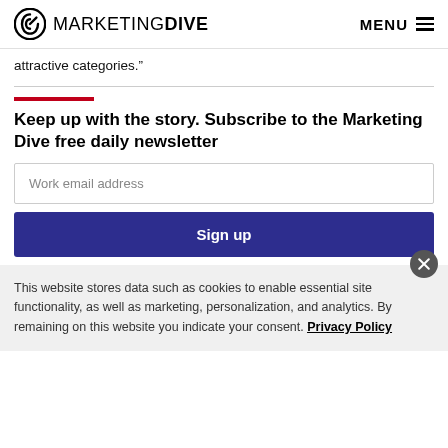MARKETING DIVE  MENU
attractive categories."
Keep up with the story. Subscribe to the Marketing Dive free daily newsletter
Work email address
Sign up
This website stores data such as cookies to enable essential site functionality, as well as marketing, personalization, and analytics. By remaining on this website you indicate your consent. Privacy Policy